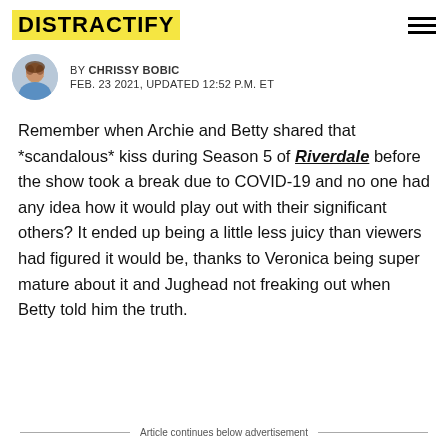DISTRACTIFY
BY CHRISSY BOBIC
FEB. 23 2021, UPDATED 12:52 P.M. ET
Remember when Archie and Betty shared that *scandalous* kiss during Season 5 of Riverdale before the show took a break due to COVID-19 and no one had any idea how it would play out with their significant others? It ended up being a little less juicy than viewers had figured it would be, thanks to Veronica being super mature about it and Jughead not freaking out when Betty told him the truth.
Article continues below advertisement